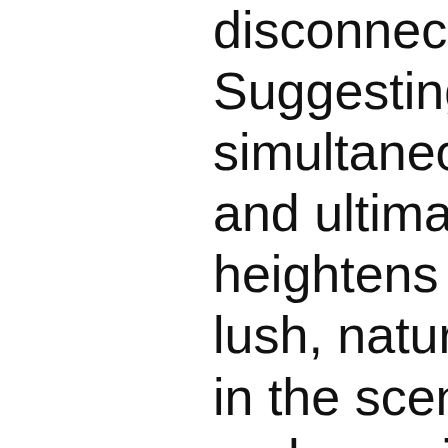disconnected ever Suggesting that con simultaneously hyp and ultimately isolat heightens this dyna lush, natural surroun in the scene. Withou and surveillance of environment, are th